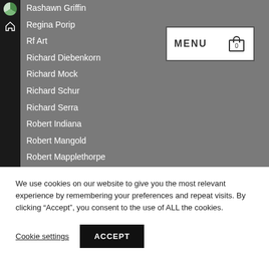Rashawn Griffin
Regina Porip
Rf Art
Richard Diebenkorn
Richard Mock
Richard Schur
Richard Serra
Robert Indiana
Robert Mangold
Robert Mapplethorpe
Robert Motherwell
Robert Rauschenberg
Robert Stackhouse
We use cookies on our website to give you the most relevant experience by remembering your preferences and repeat visits. By clicking “Accept”, you consent to the use of ALL the cookies.
Cookie settings  ACCEPT